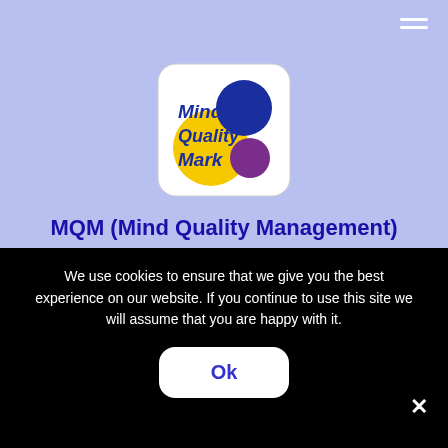[Figure (logo): Mind Quality Mark logo — white rounded square containing handwritten-style text 'Mind Quality Mark' in dark navy, with a large dark blue circle top-right, a large yellow circle bottom-center-left, and a smaller purple circle bottom-right overlapping.]
MQM (Mind Quality Management)
Mind in the Vale of Glamorgan has been awarded the Mind Quality Mark (MQM). The MQM is a robust quality assurance framework
We use cookies to ensure that we give you the best experience on our website. If you continue to use this site we will assume that you are happy with it.